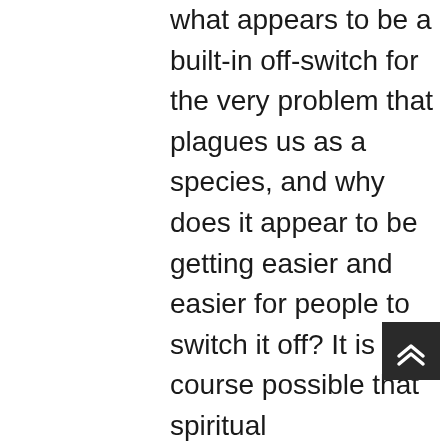what appears to be a built-in off-switch for the very problem that plagues us as a species, and why does it appear to be getting easier and easier for people to switch it off? It is of course possible that spiritual enlightenment is just some random fluke of human neurology, and it is possible that longtime enlightenment coaches are lying or mistaken about that path having become easier for people to travel in recent years, and that we are indeed just one more species headed the way of the dinosaur with no off-ramp. But I do think it's fascinating that our enslavement to mental narrative is the thing which enables us to be manipulated into consenting to war, oligarchy and ecocide on a large scale, and that just as